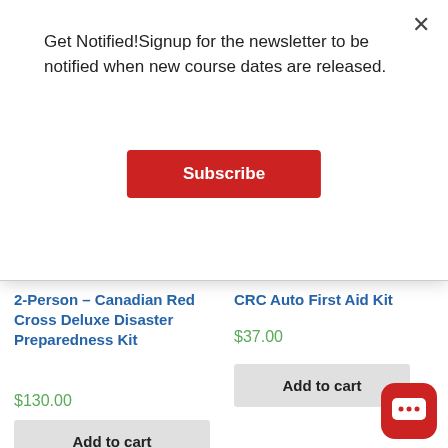Get Notified!Signup for the newsletter to be notified when new course dates are released.
Subscribe
[Figure (photo): Red Canadian Red Cross backpack/bag with white cross logo]
2-Person – Canadian Red Cross Deluxe Disaster Preparedness Kit
$130.00
Add to cart
[Figure (photo): CRC Auto First Aid Kit contents including packets and a blue cloth item]
CRC Auto First Aid Kit
$37.00
Add to cart
[Figure (illustration): Red rounded square chat/message icon]